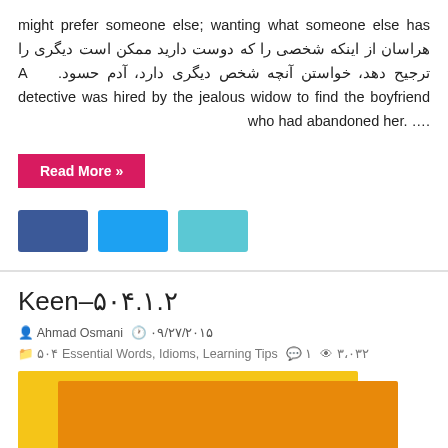might prefer someone else; wanting what someone else has هراسان از اینکه شخصی را که دوست دارید ممکن است دیگری را ترجیح دهد، خواستن آنچه شخص دیگری دارد، آدم حسود.   A detective was hired by the jealous widow to find the boyfriend who had abandoned her. ….
Read More »
[Figure (illustration): Three social media share buttons: Facebook (dark blue), Twitter (medium blue), LinkedIn (teal/cyan)]
Keen-۵۰۴.۱.۲
Ahmad Osmani  ۰۹/۲۷/۲۰۱۵  ۵۰۴ Essential Words, Idioms, Learning Tips  ۱  ۳،۰۳۲
[Figure (illustration): Layered yellow and orange rectangular shapes suggesting a vocabulary card or book cover, with a white bar at the bottom center.]